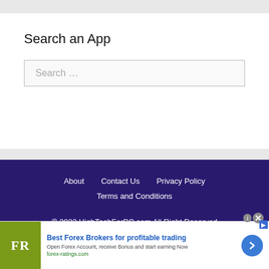Search an App
Search …
About   Contact Us   Privacy Policy
Terms and Conditions
© 2022 HighTechForPC.com All Right Reserved
[Figure (other): Advertisement banner for Best Forex Brokers. FR logo on olive/yellow-green square background. Headline: Best Forex Brokers for profitable trading. Subtext: Open Forex Account, receive Bonus and start earning Now. Link: forex-ratings.com. Blue circular arrow button on right.]